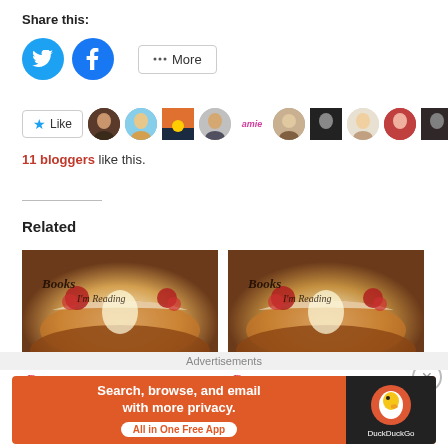Share this:
[Figure (other): Social share buttons: Twitter (blue circle), Facebook (blue circle), More (outlined button)]
[Figure (other): Like button and row of 9 blogger avatar thumbnails]
11 bloggers like this.
Related
[Figure (photo): Books I'm Reading blog header image - open book with glowing light and roses, calligraphic text]
🌹 Manic Monday! This Week I'm Reading Books by Carrie
[Figure (photo): Books I'm Reading blog header image - open book with glowing light and roses, calligraphic text]
🌹 Manic Monday! This Week I'm Reading Books by R.L.
Advertisements
[Figure (other): DuckDuckGo advertisement banner: Search, browse, and email with more privacy. All in One Free App.]